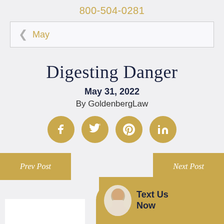800-504-0281
May
Digesting Danger
May 31, 2022
By GoldenbergLaw
[Figure (other): Four gold circular social media icons: Facebook, Twitter, Pinterest, LinkedIn]
Prev Post
Next Post
[Figure (other): Gold rounded hamburger menu button]
[Figure (other): Text Us Now chat button with woman avatar on gold background]